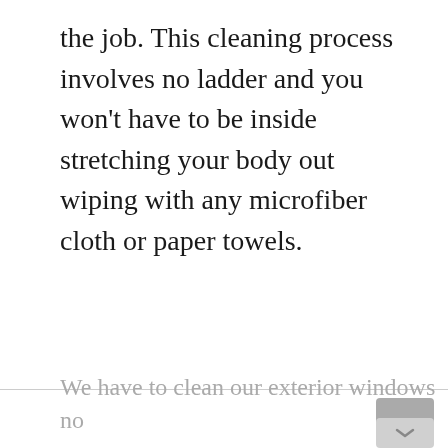the job. This cleaning process involves no ladder and you won't have to be inside stretching your body out wiping with any microfiber cloth or paper towels.
We have to clean our exterior windows no